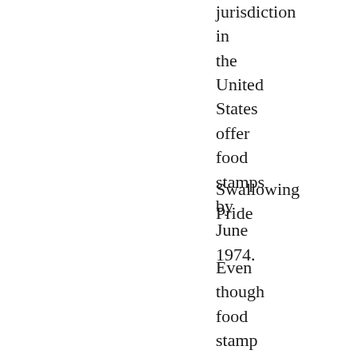jurisdiction in the United States offer food stamps by June 1974.
Swallowing Pride
Even though food stamp enrollment quadrupled between 1968 and 1971, Congress